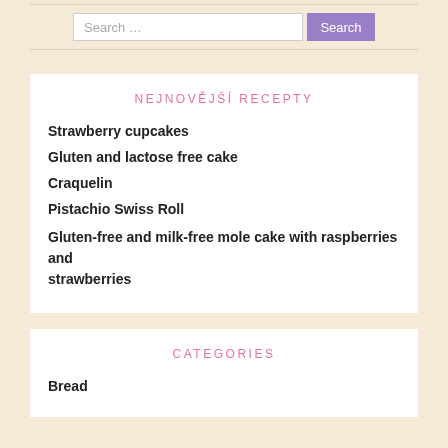Search …  Search
NEJNOVĚJŠÍ RECEPTY
Strawberry cupcakes
Gluten and lactose free cake
Craquelin
Pistachio Swiss Roll
Gluten-free and milk-free mole cake with raspberries and strawberries
CATEGORIES
Bread